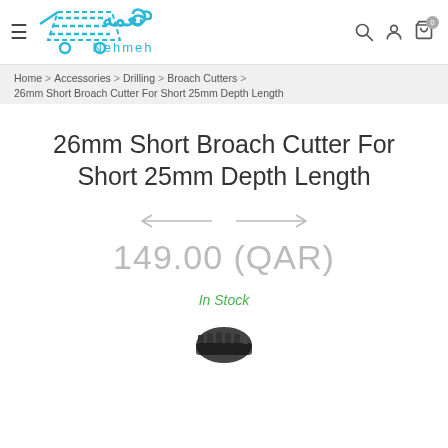Nehmeh — navigation header with logo, hamburger menu, search, account, and cart icons
Home > Accessories > Drilling > Broach Cutters > 26mm Short Broach Cutter For Short 25mm Depth Length
26mm Short Broach Cutter For Short 25mm Depth Length
149.00 (QAR)
In Stock
[Figure (photo): Partial view of a broach cutter tool at the bottom of the page]